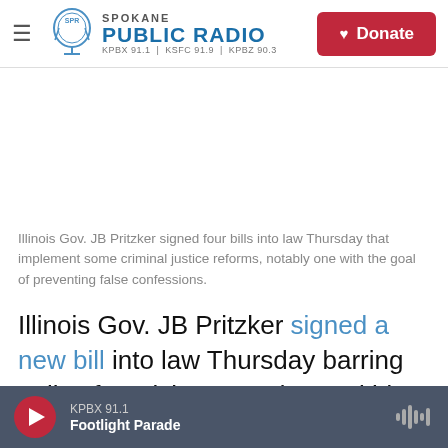Spokane Public Radio — KPBX 91.1 | KSFC 91.9 | KPBZ 90.3 — Donate
Illinois Gov. JB Pritzker signed four bills into law Thursday that implement some criminal justice reforms, notably one with the goal of preventing false confessions.
Illinois Gov. JB Pritzker signed a new bill into law Thursday barring police from lying to underage kids during interrogations.
KPBX 91.1 — Footlight Parade